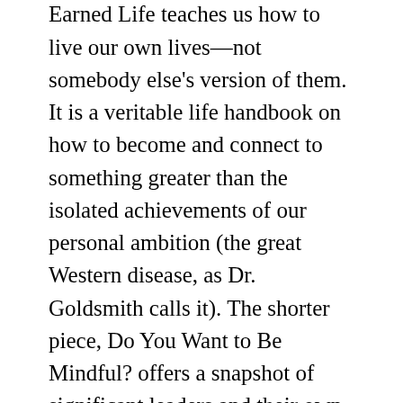since his career began. The Earned Life teaches us how to live our own lives—not somebody else's version of them. It is a veritable life handbook on how to become and connect to something greater than the isolated achievements of our personal ambition (the great Western disease, as Dr. Goldsmith calls it). The shorter piece, Do You Want to Be Mindful? offers a snapshot of significant leaders and their own experiences in terms of values, self-improvement and, of course, mindfulness.
“These new releases are steeped in Buddhist philosophy,” says Marshall Goldsmith. “I hope they go a long way in curing folks of what I call the Western disease, which afflicts anyone who says or thinks, ‘I’ll be happy when...’”
Mr. Miliano adds: “The timing was very fortuitous that the story Marshall always told to the...